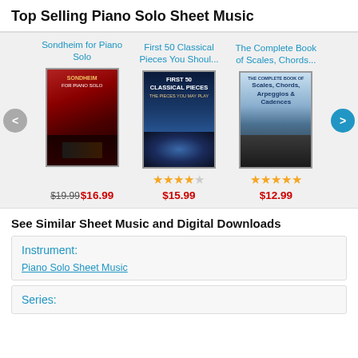Top Selling Piano Solo Sheet Music
[Figure (other): Carousel of three book covers: Sondheim for Piano Solo, First 50 Classical Pieces You Shoul..., The Complete Book of Scales, Chords... with ratings and prices]
See Similar Sheet Music and Digital Downloads
Instrument:
Piano Solo Sheet Music
Series: